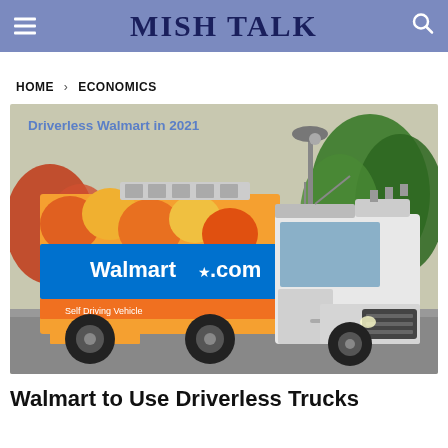MISH TALK
HOME > ECONOMICS
[Figure (photo): A white Walmart.com branded delivery truck (Gatik Self Driving Vehicle) parked on a road with trees in the background. The truck has a refrigerated box body with produce graphics and Walmart.com branding, and sensor equipment on the roof. Text overlay reads 'Driverless Walmart in 2021'.]
Walmart to Use Driverless Trucks